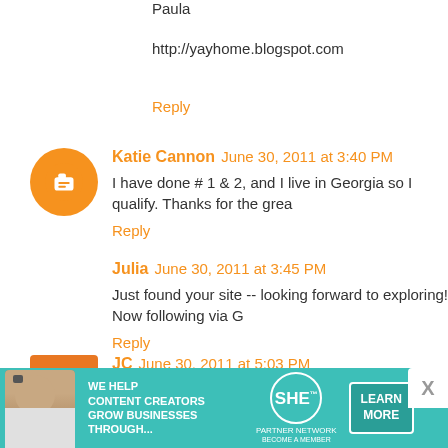Paula
http://yayhome.blogspot.com
Reply
Katie Cannon  June 30, 2011 at 3:40 PM
I have done # 1 & 2, and I live in Georgia so I qualify. Thanks for the grea
Reply
Julia  June 30, 2011 at 3:45 PM
Just found your site -- looking forward to exploring! Now following via G
Reply
JC  June 30, 2011 at 5:03 PM
I'm a follower. Love your decoration tips!
Reply
[Figure (infographic): SHE Partner Network advertisement banner with teal background, woman with laptop photo, text 'WE HELP CONTENT CREATORS GROW BUSINESSES THROUGH...' and LEARN MORE button]